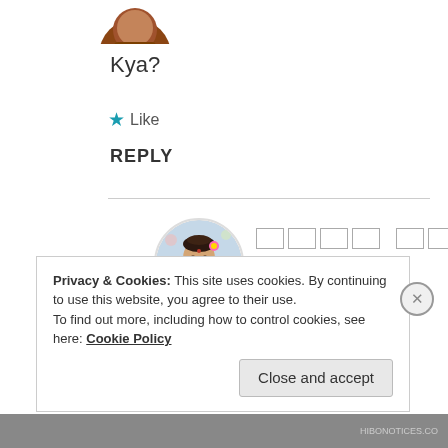[Figure (photo): Circular avatar photo of a person, partially cropped at top]
Kya?
★ Like
REPLY
[Figure (photo): Circular avatar of a woman in traditional Indian attire with floral decoration]
[redacted name] 18 Apr 2019 at 6:32 pm
Privacy & Cookies: This site uses cookies. By continuing to use this website, you agree to their use.
To find out more, including how to control cookies, see here: Cookie Policy
Close and accept